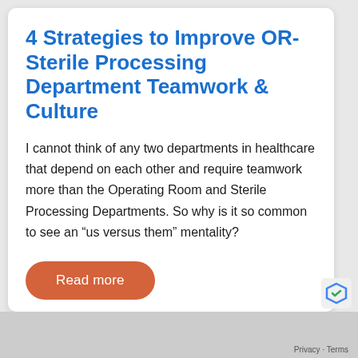4 Strategies to Improve OR-Sterile Processing Department Teamwork & Culture
I cannot think of any two departments in healthcare that depend on each other and require teamwork more than the Operating Room and Sterile Processing Departments. So why is it so common to see an “us versus them” mentality?
Read more
Privacy · Terms